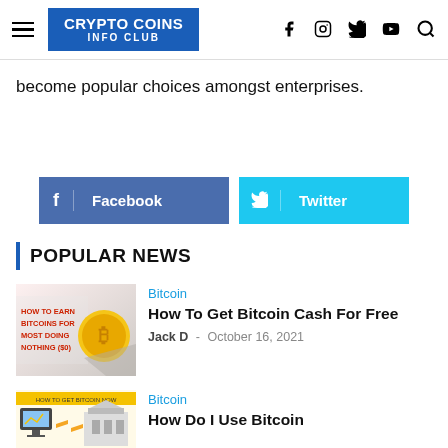CRYPTO COINS INFO CLUB
become popular choices amongst enterprises.
[Figure (other): Facebook and Twitter share buttons]
POPULAR NEWS
[Figure (photo): Thumbnail image for 'How To Get Bitcoin Cash For Free' article showing Bitcoin coin and text 'How To Earn Bitcoins For Most Doing Nothing ($0)']
Bitcoin
How To Get Bitcoin Cash For Free
Jack D - October 16, 2021
[Figure (photo): Thumbnail image for 'How Do I Use Bitcoin' article showing a monitor, arrows, and a bank building]
Bitcoin
How Do I Use Bitcoin